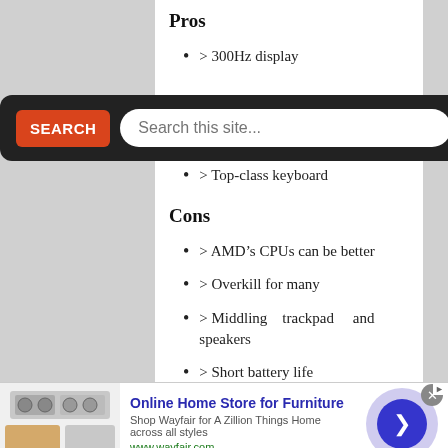Pros
> 300Hz display
> Robust, eye-catching design
> Top-class keyboard
Cons
> AMD's CPUs can be better
> Overkill for many
> Middling trackpad and speakers
> Short battery life
Our Verdict
[Figure (screenshot): Search overlay with red SEARCH button and text input field 'Search this site...' on dark background]
[Figure (screenshot): Advertisement banner: Online Home Store for Furniture - Shop Wayfair for A Zillion Things Home across all styles, www.wayfair.com, with furniture image and blue circular arrow button]